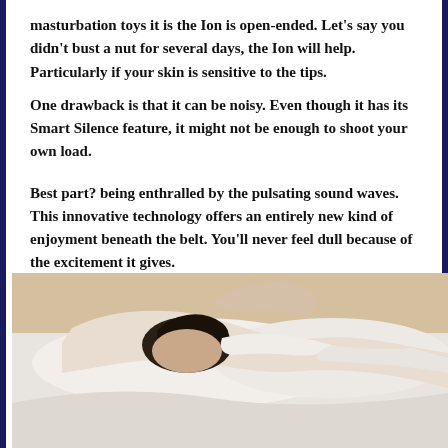masturbation toys it is the Ion is open-ended. Let’s say you didn’t bust a nut for several days, the Ion will help. Particularly if your skin is sensitive to the tips.
One drawback is that it can be noisy. Even though it has its Smart Silence feature, it might not be enough to shoot your own load.
Best part? being enthralled by the pulsating sound waves. This innovative technology offers an entirely new kind of enjoyment beneath the belt. You’ll never feel dull because of the excitement it gives.
[Figure (photo): A person with dark hair lying face-down on white bedding/pillows in a bedroom setting with a beige/tan background wall.]